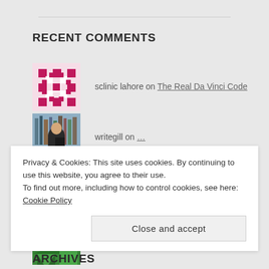RECENT COMMENTS
sclinic lahore on The Real Da Vinci Code
writegill on …
C K Roy on …
20 Facts About Punja… on Badlu Ram could reduce India-P…
Privacy & Cookies: This site uses cookies. By continuing to use this website, you agree to their use.
To find out more, including how to control cookies, see here: Cookie Policy
Close and accept
ARCHIVES